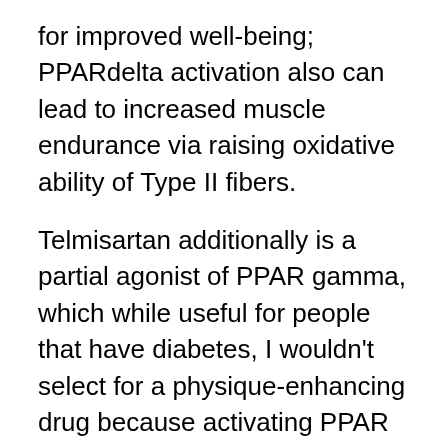for improved well-being; PPARdelta activation also can lead to increased muscle endurance via raising oxidative ability of Type II fibers.
Telmisartan additionally is a partial agonist of PPAR gamma, which while useful for people that have diabetes, I wouldn't select for a physique-enhancing drug because activating PPAR gamma works towards improving fat storage. Telmisartan has so many tasks working against fat storage that overall its improbable to gain bodyfat from the PPARgamma mechanism, but still I'd rather minimize this activation. Oleuropein